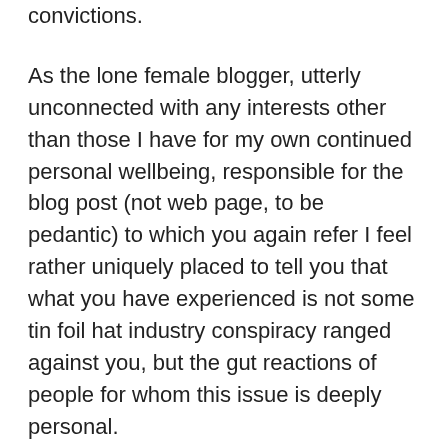convictions.
As the lone female blogger, utterly unconnected with any interests other than those I have for my own continued personal wellbeing, responsible for the blog post (not web page, to be pedantic) to which you again refer I feel rather uniquely placed to tell you that what you have experienced is not some tin foil hat industry conspiracy ranged against you, but the gut reactions of people for whom this issue is deeply personal.
There have been many occasions in the past, Martin, when I have agreed with and deeply respected your views on public health issues, particularly with respect to your thinking on the